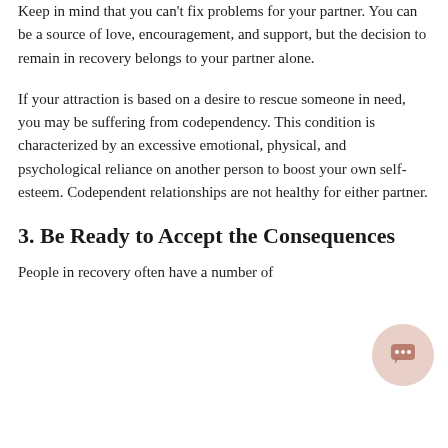Keep in mind that you can't fix problems for your partner. You can be a source of love, encouragement, and support, but the decision to remain in recovery belongs to your partner alone.
If your attraction is based on a desire to rescue someone in need, you may be suffering from codependency. This condition is characterized by an excessive emotional, physical, and psychological reliance on another person to boost your own self-esteem. Codependent relationships are not healthy for either partner.
3. Be Ready to Accept the Consequences
People in recovery often have a number of